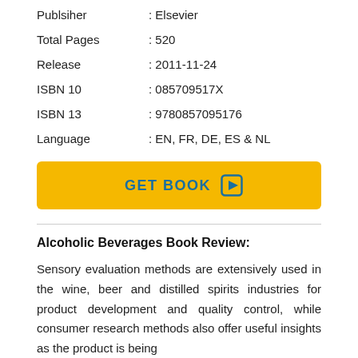Publsiher : Elsevier
Total Pages : 520
Release : 2011-11-24
ISBN 10 : 085709517X
ISBN 13 : 9780857095176
Language : EN, FR, DE, ES & NL
[Figure (other): Yellow GET BOOK button with play icon]
Alcoholic Beverages Book Review:
Sensory evaluation methods are extensively used in the wine, beer and distilled spirits industries for product development and quality control, while consumer research methods also offer useful insights as the product is being